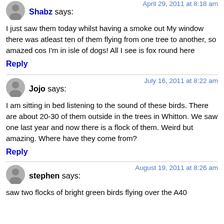April 29, 2011 at 8:18 am
Shabz says:
I just saw them today whilst having a smoke out My window there was atleast ten of them flying from one tree to another, so amazed cos I'm in isle of dogs! All I see is fox round here
Reply
July 16, 2011 at 8:22 am
Jojo says:
I am sitting in bed listening to the sound of these birds. There are about 20-30 of them outside in the trees in Whitton. We saw one last year and now there is a flock of them. Weird but amazing. Where have they come from?
Reply
August 19, 2011 at 8:26 am
stephen says:
saw two flocks of bright green birds flying over the A40...